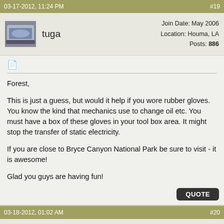03-17-2012, 11:24 PM   #19
tuga
Join Date: May 2006
Location: Houma, LA
Posts: 886
Forest,

This is just a guess, but would it help if you wore rubber gloves. You know the kind that mechanics use to change oil etc. You must have a box of these gloves in your tool box area. It might stop the transfer of static electricity.

If you are close to Bryce Canyon National Park be sure to visit - it is awesome!

Glad you guys are having fun!
03-18-2012, 01:02 AM   #20
prairieschooner
Join Date: Jun 2009
Location: Idyllwild, CA